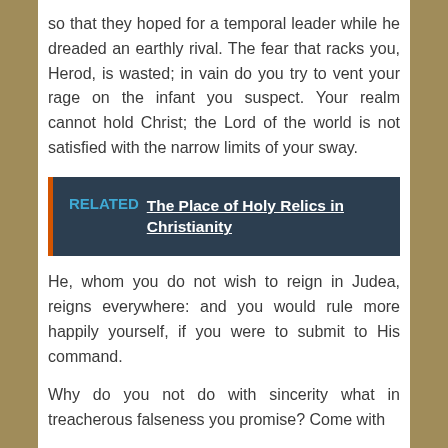so that they hoped for a temporal leader while he dreaded an earthly rival. The fear that racks you, Herod, is wasted; in vain do you try to vent your rage on the infant you suspect. Your realm cannot hold Christ; the Lord of the world is not satisfied with the narrow limits of your sway.
RELATED  The Place of Holy Relics in Christianity
He, whom you do not wish to reign in Judea, reigns everywhere: and you would rule more happily yourself, if you were to submit to His command.
Why do you not do with sincerity what in treacherous falseness you promise? Come with